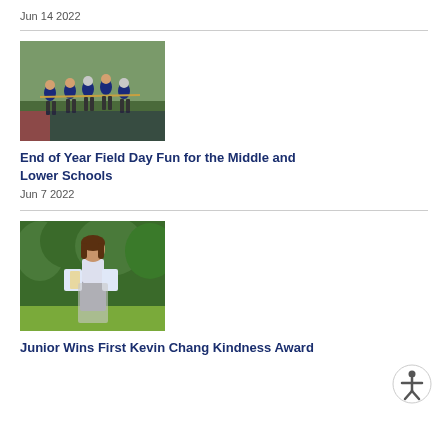Jun 14 2022
[Figure (photo): Children playing tug of war on a sports field, wearing dark blue shirts]
End of Year Field Day Fun for the Middle and Lower Schools
Jun 7 2022
[Figure (photo): A young girl standing in front of green bushes, holding papers/awards]
Junior Wins First Kevin Chang Kindness Award